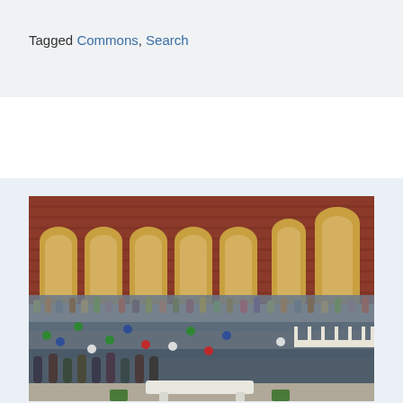Tagged Commons, Search
[Figure (photo): Large group photo of hundreds of conference attendees gathered in the courtyard of a historic red brick building with arched colonnades. People are waving and smiling at the camera from multiple levels.]